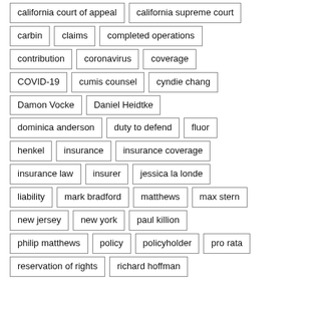california court of appeal
california supreme court
carbin
claims
completed operations
contribution
coronavirus
coverage
COVID-19
cumis counsel
cyndie chang
Damon Vocke
Daniel Heidtke
dominica anderson
duty to defend
fluor
henkel
insurance
insurance coverage
insurance law
insurer
jessica la londe
liability
mark bradford
matthews
max stern
new jersey
new york
paul killion
philip matthews
policy
policyholder
pro rata
reservation of rights
richard hoffman